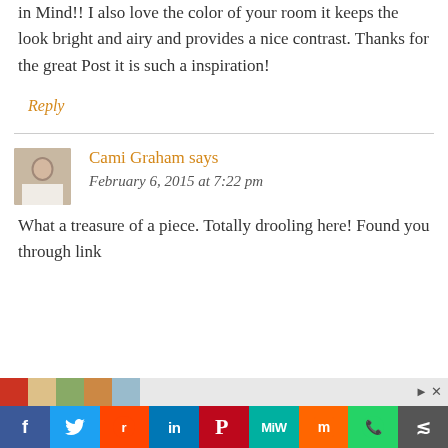in Mind!! I also love the color of your room it keeps the look bright and airy and provides a nice contrast. Thanks for the great Post it is such a inspiration!
Reply
Cami Graham says
February 6, 2015 at 7:22 pm
What a treasure of a piece. Totally drooling here! Found you through link